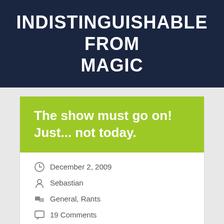INDISTINGUISHABLE FROM MAGIC
The show must go on! Just... not today.
December 2, 2009
Sebastian
General, Rants
19 Comments
It is with a heavy heart